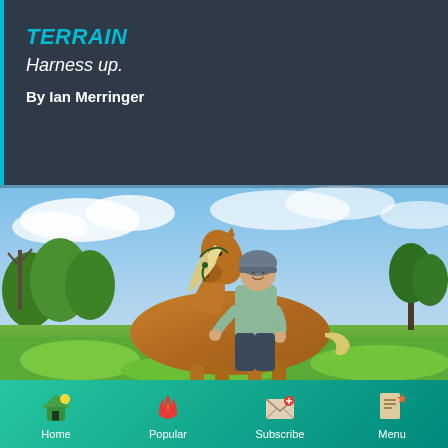Harness up.
By Ian Merringer
[Figure (photo): A woman wearing a helmet rides a palomino horse in a green outdoor field with trees and a cloudy blue sky in the background.]
Home | Popular | Subscribe | Menu